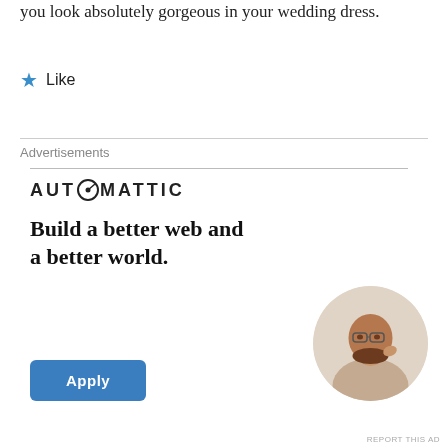you look absolutely gorgeous in your wedding dress.
★ Like
Advertisements
[Figure (logo): Automattic logo with compass icon replacing the letter O, uppercase bold spaced lettering: AUTOMATTIC]
Build a better web and a better world.
[Figure (photo): Circular cropped photo of a man wearing glasses and a beige shirt, sitting at a desk, looking upward thoughtfully with hand raised to chin]
Apply
REPORT THIS AD